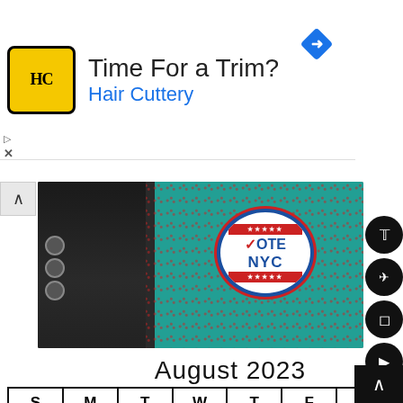[Figure (other): Hair Cuttery advertisement banner with logo, 'Time For a Trim?' heading, and navigation icon]
[Figure (photo): Photo of person wearing black clothing with colorful dotted background and a 'Vote NYC' badge sticker]
August 2023
| S | M | T | W | T | F | S |
| --- | --- | --- | --- | --- | --- | --- |
|  | 1 | 2 | 3 | 4 | 5 | 6 |
| 7 | 8 | 9 | 10 | 11 | 12 | 13 |
| 14 | 15 | 16 | 17 | 18 TODAY | 19 |  |
| 21 | 22 | 23 | 24 | 25 | 26 | 27 |
|  |  |  |  |  |  |  |